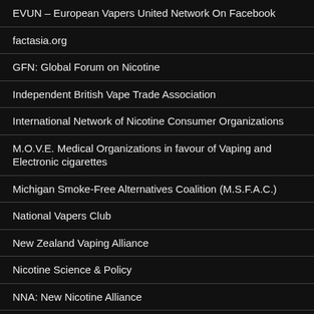EVUN – European Vapers United Network On Facebook
factasia.org
GFN: Global Forum on Nicotine
Independent British Vape Trade Association
International Network of Nicotine Consumer Organizations
M.O.V.E. Medical Organizations in favour of Vaping and Electronic cigarettes
Michigan Smoke-Free Alternatives Coalition (M.S.F.A.C.)
National Vapers Club
New Zealand Vaping Alliance
Nicotine Science & Policy
NNA: New Nicotine Alliance
NNA: New Nicotine Alliance AU